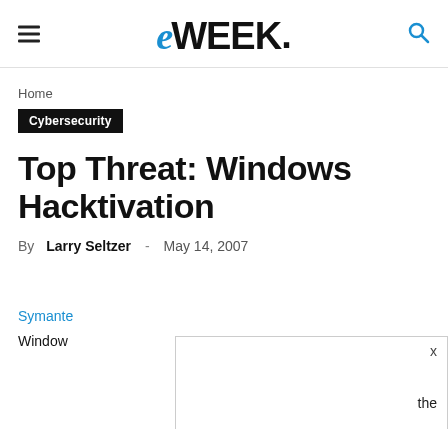eWEEK
Home
Cybersecurity
Top Threat: Windows Hacktivation
By Larry Seltzer - May 14, 2007
Symante
Window